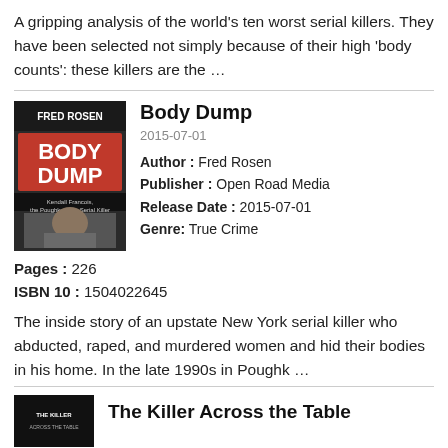A gripping analysis of the world's ten worst serial killers. They have been selected not simply because of their high 'body counts': these killers are the …
[Figure (illustration): Book cover of 'Body Dump' by Fred Rosen, showing the title in large red letters on dark background with a mugshot photo of a man]
Body Dump
2015-07-01
Author : Fred Rosen
Publisher : Open Road Media
Release Date : 2015-07-01
Genre: True Crime
Pages : 226
ISBN 10 : 1504022645
The inside story of an upstate New York serial killer who abducted, raped, and murdered women and hid their bodies in his home. In the late 1990s in Poughk …
[Figure (illustration): Partial book cover of 'The Killer Across the Table' visible at bottom]
The Killer Across the Table